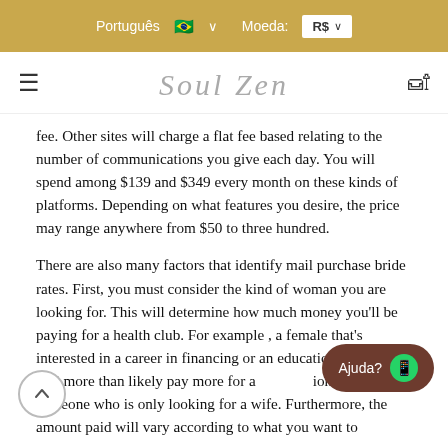Português 🇧🇷 ∨  Moeda: R$ ∨
[Figure (logo): Soul Zen script logo with hamburger menu icon on left and shopping bag icon on right]
fee. Other sites will charge a flat fee based relating to the number of communications you give each day. You will spend among $139 and $349 every month on these kinds of platforms. Depending on what features you desire, the price may range anywhere from $50 to three hundred.
There are also many factors that identify mail purchase bride rates. First, you must consider the kind of woman you are looking for. This will determine how much money you'll be paying for a health club. For example , a female that's interested in a career in financing or an education in business will more than likely pay more for a subscription than someone who is only looking for a wife. Furthermore, the amount paid will vary according to what you want to